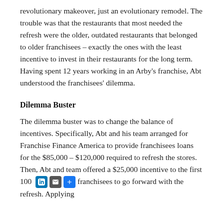revolutionary makeover, just an evolutionary remodel. The trouble was that the restaurants that most needed the refresh were the older, outdated restaurants that belonged to older franchisees – exactly the ones with the least incentive to invest in their restaurants for the long term. Having spent 12 years working in an Arby's franchise, Abt understood the franchisees' dilemma.
Dilemma Buster
The dilemma buster was to change the balance of incentives. Specifically, Abt and his team arranged for Franchise Finance America to provide franchisees loans for the $85,000 – $120,000 required to refresh the stores. Then, Abt and team offered a $25,000 incentive to the first 100 franchisees to go forward with the refresh. Applying